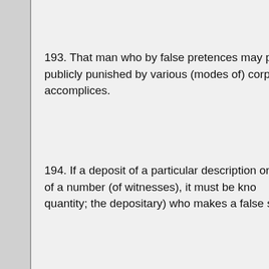193. That man who by false pretences may p... publicly punished by various (modes of) corpo... accomplices.
194. If a deposit of a particular description or... of a number (of witnesses), it must be kno... quantity; the depositary) who makes a false sta...
195. But if anything is delivered or received p... bailment (was, so should be) the re-delivery.
196. Thus let the king decide (causes) conce...